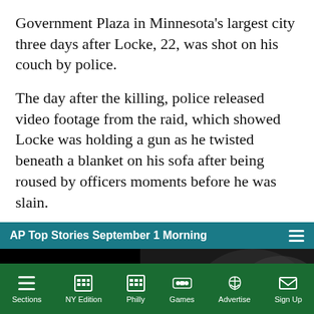Government Plaza in Minnesota's largest city three days after Locke, 22, was shot on his couch by police.
The day after the killing, police released video footage from the raid, which showed Locke was holding a gun as he twisted beneath a blanket on his sofa after being roused by officers moments before he was slain.
[Figure (screenshot): AP Top Stories September 1 Morning video player with teal header bar, muted button, black left panel, and satellite/news imagery on right with partial text 'ISMINUTE']
Sections | NY Edition | Philly | Games | Advertise | Sign Up